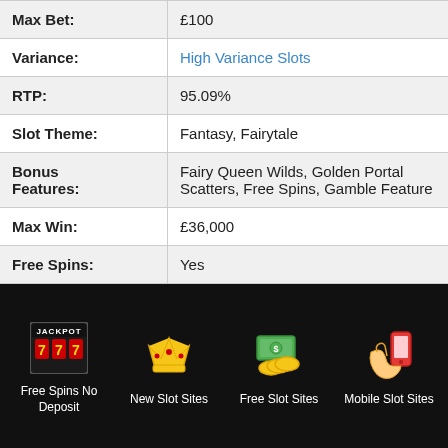| Max Bet: | £100 |
| Variance: | High Variance Slots |
| RTP: | 95.09% |
| Slot Theme: | Fantasy, Fairytale |
| Bonus Features: | Fairy Queen Wilds, Golden Portal Scatters, Free Spins, Gamble Feature |
| Max Win: | £36,000 |
| Free Spins: | Yes |
[Figure (infographic): Footer navigation bar with four icon links: Free Spins No Deposit (slot machine icon), New Slot Sites (crown icon), Free Slot Sites (money/coins icon), Mobile Slot Sites (phone icon)]